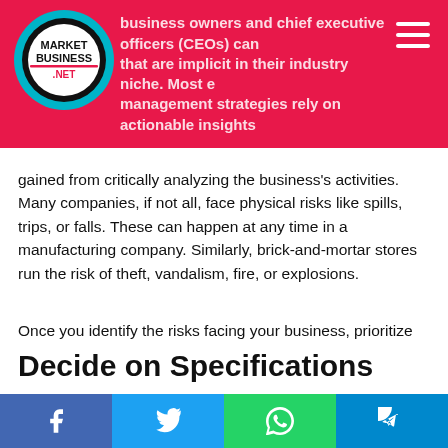marketbusiness.net — business owners and chief executive officers (CEOs) can... that are implicit in their industry niche. Most management strategies rely on actionable insights
gained from critically analyzing the business's activities. Many companies, if not all, face physical risks like spills, trips, or falls. These can happen at any time in a manufacturing company. Similarly, brick-and-mortar stores run the risk of theft, vandalism, fire, or explosions.
Once you identify the risks facing your business, prioritize them following a probability scale or their likelihood of occurring. The key takeaway is that identifying risks that pose a threat to your business helps you plan how best to mitigate them.
Decide on Specifications